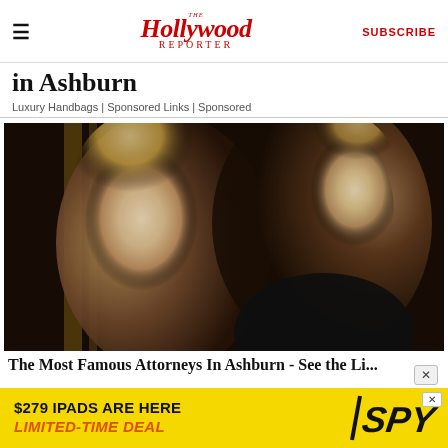The Hollywood Reporter | SUBSCRIBE
in Ashburn
Luxury Handbags | Sponsored Links | Sponsored
[Figure (photo): A young blonde woman and a tall blonde man with blue eyes posing together at what appears to be an event. The woman is in the foreground left, the man is behind on the right, both facing the camera.]
The Most Famous Attorneys In Ashburn - See the Li...
[Figure (infographic): Advertisement banner: '$279 IPADS ARE HERE / LIMITED-TIME DEAL' with SPY logo on yellow background]